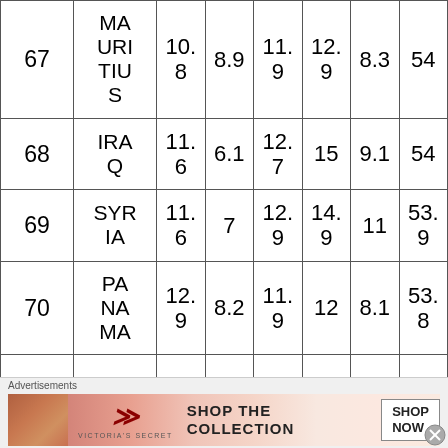| Rank | Country | Col3 | Col4 | Col5 | Col6 | Col7 | Col8 |
| --- | --- | --- | --- | --- | --- | --- | --- |
| 67 | MAURITIUS | 10.8 | 8.9 | 11.9 | 12.9 | 8.3 | 54 |
| 68 | IRAQ | 11.6 | 6.1 | 12.7 | 15 | 9.1 | 54 |
| 69 | SYRIA | 11.6 | 7 | 12.9 | 14.9 | 11 | 53.9 |
| 70 | PANAMA | 12.9 | 8.2 | 11.9 | 12 | 8.1 | 53.8 |
| — | EG… | 11… | — | — | 16… | — | 53… |
[Figure (other): Victoria's Secret advertisement banner with model photo and 'SHOP THE COLLECTION' text]